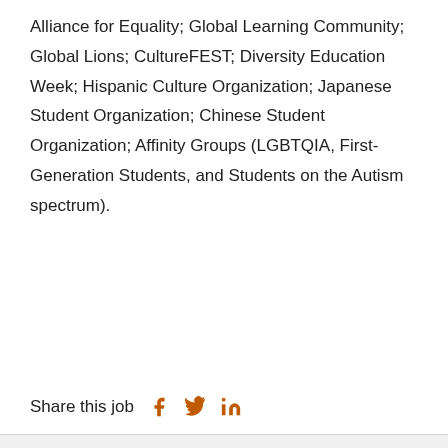Alliance for Equality; Global Learning Community; Global Lions; CultureFEST; Diversity Education Week; Hispanic Culture Organization; Japanese Student Organization; Chinese Student Organization; Affinity Groups (LGBTQIA, First-Generation Students, and Students on the Autism spectrum).
Share this job
[Figure (infographic): Send job icon (envelope) and Save icon (star) buttons in orange on a light gray background]
[Figure (infographic): Envelope icon on dark blue footer background]